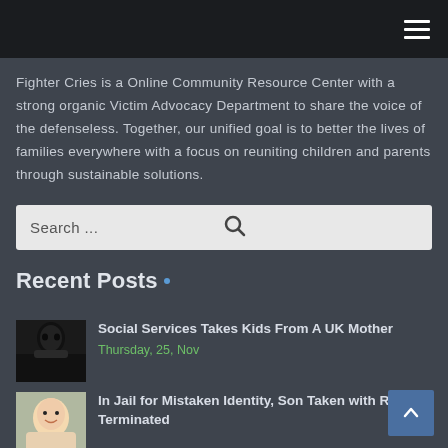Navigation bar with hamburger menu
Fighter Cries is a Online Community Resource Center with a strong organic Victim Advocacy Department to share the voice of the defenseless. Together, our unified goal is to better the lives of families everywhere with a focus on reuniting children and parents through sustainable solutions.
Search ...
Recent Posts
Social Services Takes Kids From A UK Mother
Thursday, 25, Nov
In Jail for Mistaken Identity, Son Taken with Rights Terminated